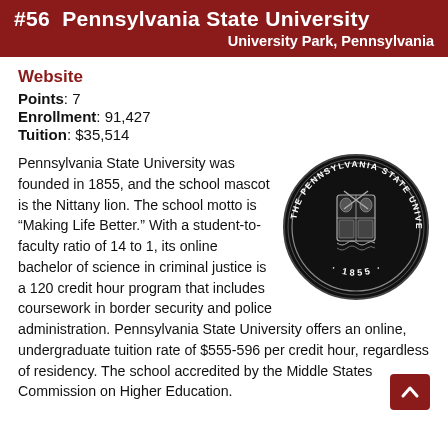#56 Pennsylvania State University
University Park, Pennsylvania
Website
Points: 7
Enrollment: 91,427
Tuition: $35,514
[Figure (logo): Pennsylvania State University circular seal, black background with university crest and year 1855]
Pennsylvania State University was founded in 1855, and the school mascot is the Nittany lion. The school motto is “Making Life Better.” With a student-to-faculty ratio of 14 to 1, its online bachelor of science in criminal justice is a 120 credit hour program that includes coursework in border security and police administration. Pennsylvania State University offers an online, undergraduate tuition rate of $555-596 per credit hour, regardless of residency. The school accredited by the Middle States Commission on Higher Education.